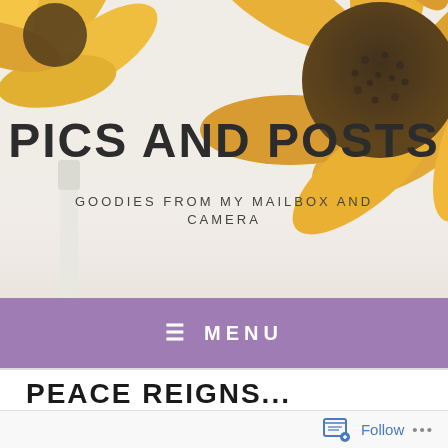[Figure (photo): Close-up photo of a sunflower with bright yellow petals and dark brown center, blurred white background, used as website header background image]
PICS AND POSTS
GOODIES FROM MY MAILBOX AND CAMERA
☰ MENU
PEACE REIGNS...
Follow ...